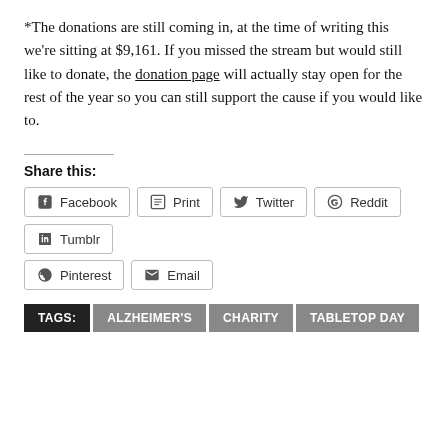*The donations are still coming in, at the time of writing this we're sitting at $9,161. If you missed the stream but would still like to donate, the donation page will actually stay open for the rest of the year so you can still support the cause if you would like to.
Share this:
Facebook | Print | Twitter | Reddit | Tumblr | Pinterest | Email
TAGS: ALZHEIMER'S | CHARITY | TABLETOP DAY